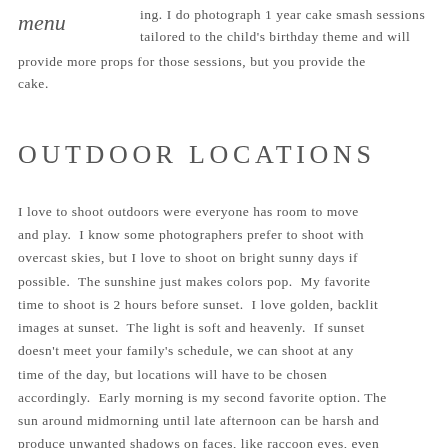ing. I do photograph 1 year cake smash sessions tailored to the child's birthday theme and will provide more props for those sessions, but you provide the cake.
OUTDOOR LOCATIONS
I love to shoot outdoors were everyone has room to move and play.  I know some photographers prefer to shoot with overcast skies, but I love to shoot on bright sunny days if possible.  The sunshine just makes colors pop.  My favorite time to shoot is 2 hours before sunset.  I love golden, backlit images at sunset.  The light is soft and heavenly.  If sunset doesn't meet your family's schedule, we can shoot at any time of the day, but locations will have to be chosen accordingly.  Early morning is my second favorite option. The sun around midmorning until late afternoon can be harsh and produce unwanted shadows on faces, like raccoon eyes, even